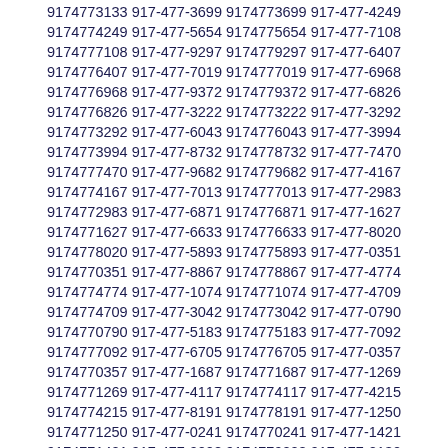9174773133 917-477-3699 9174773699 917-477-4249 9174774249 917-477-5654 9174775654 917-477-7108 9174777108 917-477-9297 9174779297 917-477-6407 9174776407 917-477-7019 9174777019 917-477-6968 9174776968 917-477-9372 9174779372 917-477-6826 9174776826 917-477-3222 9174773222 917-477-3292 9174773292 917-477-6043 9174776043 917-477-3994 9174773994 917-477-8732 9174778732 917-477-7470 9174777470 917-477-9682 9174779682 917-477-4167 9174774167 917-477-7013 9174777013 917-477-2983 9174772983 917-477-6871 9174776871 917-477-1627 9174771627 917-477-6633 9174776633 917-477-8020 9174778020 917-477-5893 9174775893 917-477-0351 9174770351 917-477-8867 9174778867 917-477-4774 9174774774 917-477-1074 9174771074 917-477-4709 9174774709 917-477-3042 9174773042 917-477-0790 9174770790 917-477-5183 9174775183 917-477-7092 9174777092 917-477-6705 9174776705 917-477-0357 9174770357 917-477-1687 9174771687 917-477-1269 9174771269 917-477-4117 9174774117 917-477-4215 9174774215 917-477-8191 9174778191 917-477-1250 9174771250 917-477-0241 9174770241 917-477-1421 9174771421 917-477-9008 9174779008 917-477-2130 9174772130 917-477-4556 9174774556 917-477-0190 9174770190 917-477-6416 9174776416 917-477-0407 9174770407 917-477-6415 9174776415 917-477-3674